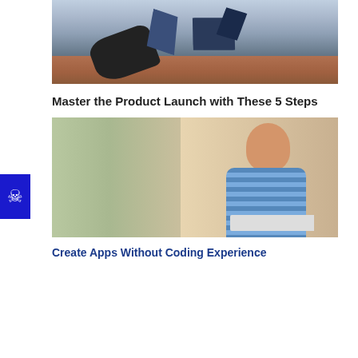[Figure (photo): Photo of a hand in a dark glove holding or tossing geometric paper shapes (dark blue polygons) against a city window background]
Master the Product Launch with These 5 Steps
[Figure (photo): Photo of a smiling man in a blue checkered shirt working on a laptop in a casual office/studio environment with bookshelves and clothing rack in background]
Create Apps Without Coding Experience